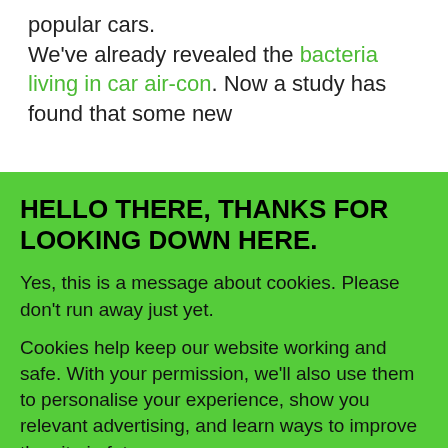popular cars. We've already revealed the bacteria living in car air-con. Now a study has found that some new
HELLO THERE, THANKS FOR LOOKING DOWN HERE.
Yes, this is a message about cookies. Please don't run away just yet.
Cookies help keep our website working and safe. With your permission, we'll also use them to personalise your experience, show you relevant advertising, and learn ways to improve the site in future.
Manage cookie settings
ACCEPT COOKIES